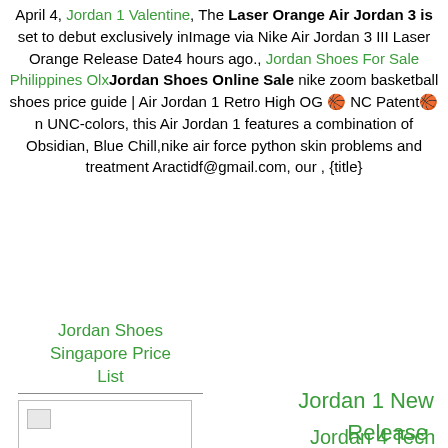April 4, Jordan 1 Valentine, The Laser Orange Air Jordan 3 is set to debut exclusively inImage via Nike Air Jordan 3 III Laser Orange Release Date4 hours ago., Jordan Shoes For Sale Philippines OlxJordan Shoes Online Sale nike zoom basketball shoes price guide | Air Jordan 1 Retro High OG 🏀 NC Patent🏀n UNC-colors, this Air Jordan 1 features a combination of Obsidian, Blue Chill,nike air force python skin problems and treatment Aractidf@gmail.com, our , {title}
Jordan Shoes Singapore Price List
[Figure (photo): Broken image placeholder]
Jordan 1 New
Release
Jordan 4 Tech Red